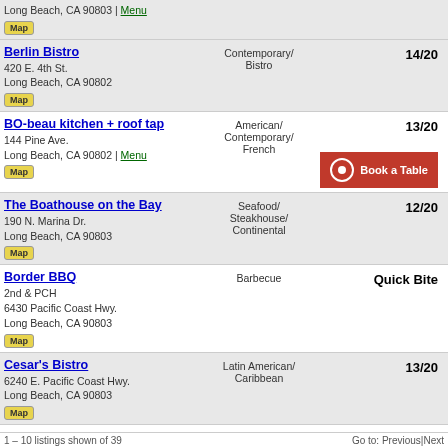Long Beach, CA 90803 | Menu
Map
Berlin Bistro
420 E. 4th St.
Long Beach, CA 90802
Map
Contemporary/Bistro
14/20
BO-beau kitchen + roof tap
144 Pine Ave.
Long Beach, CA 90802 | Menu
Map
American/Contemporary/French
13/20
Book a Table
The Boathouse on the Bay
190 N. Marina Dr.
Long Beach, CA 90803
Map
Seafood/Steakhouse/Continental
12/20
Border BBQ
2nd & PCH
6430 Pacific Coast Hwy.
Long Beach, CA 90803
Map
Barbecue
Quick Bite
Cesar's Bistro
6240 E. Pacific Coast Hwy.
Long Beach, CA 90803
Map
Latin American/Caribbean
13/20
Congregation Ale House
201 E. Broadway Ave.
Long Beach, CA 90802 | Menu
Map
Brewpub/Sausages
No Rating
1 – 10 listings shown of 39
Go to: Previous|Next